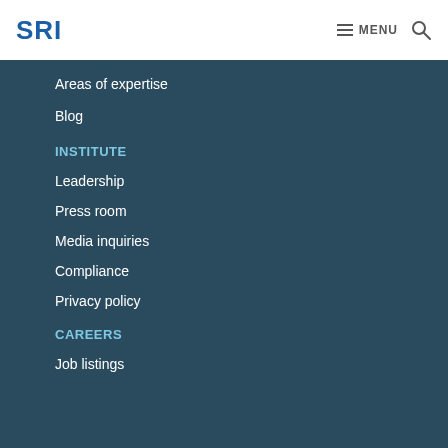SRI  ≡ MENU  🔍
Areas of expertise
Blog
INSTITUTE
Leadership
Press room
Media inquiries
Compliance
Privacy policy
CAREERS
Job listings